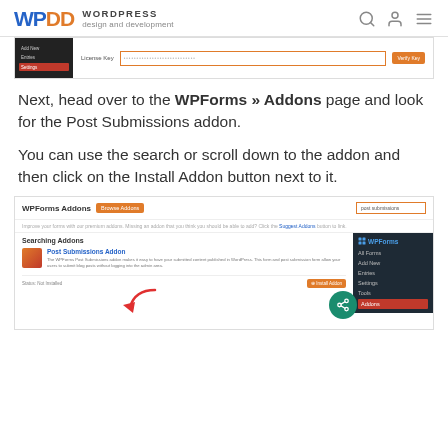WPDD WORDPRESS design and development
[Figure (screenshot): WordPress admin settings screenshot showing License Key input field with orange Verify button]
Next, head over to the WPForms » Addons page and look for the Post Submissions addon.
You can use the search or scroll down to the addon and then click on the Install Addon button next to it.
[Figure (screenshot): WPForms Addons page screenshot showing search for 'post submissions' with Post Submissions Addon result and Install Addon button, WPForms side menu visible on right]